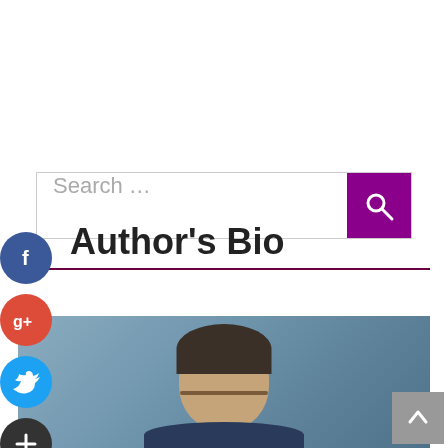Search ...
Author's Bio
[Figure (photo): Portrait photo of a middle-aged man with dark hair, glasses, wearing a dark jacket, against a blue-gray background]
[Figure (other): Social media share buttons: Facebook (blue), Google+ (red), Twitter (blue), Add/Plus (dark) on left side]